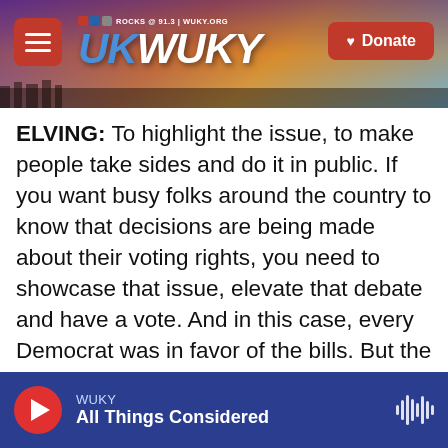WUKY NPR ROCKS @ 91.3 | WUKY.ORG — Donate
ELVING: To highlight the issue, to make people take sides and do it in public. If you want busy folks around the country to know that decisions are being made about their voting rights, you need to showcase that issue, elevate that debate and have a vote. And in this case, every Democrat was in favor of the bills. But the Republicans wheeled out the filibuster, and two Democrats - Joe Manchin, Kyrsten Sinema - were not willing to spike that cannon. They want it to be there for themselves or for their party to use on something they're opposed to down the road. So that's why the filibuster lives on, now in its third century - in some ways, may be
WUKY — All Things Considered